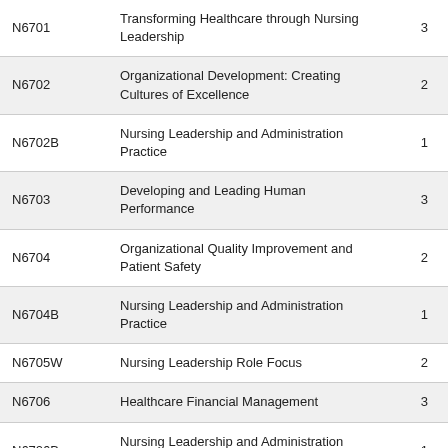| Code | Course Name | Credits |
| --- | --- | --- |
| N6701 | Transforming Healthcare through Nursing Leadership | 3 |
| N6702 | Organizational Development: Creating Cultures of Excellence | 2 |
| N6702B | Nursing Leadership and Administration Practice | 1 |
| N6703 | Developing and Leading Human Performance | 3 |
| N6704 | Organizational Quality Improvement and Patient Safety | 2 |
| N6704B | Nursing Leadership and Administration Practice | 1 |
| N6705W | Nursing Leadership Role Focus | 2 |
| N6706 | Healthcare Financial Management | 3 |
| N6706B | Nursing Leadership and Administration Practice | 1 |